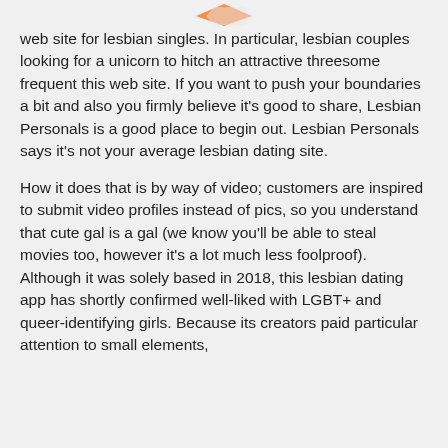[Figure (logo): Partial orange logo at top center of page]
web site for lesbian singles. In particular, lesbian couples looking for a unicorn to hitch an attractive threesome frequent this web site. If you want to push your boundaries a bit and also you firmly believe it's good to share, Lesbian Personals is a good place to begin out. Lesbian Personals says it's not your average lesbian dating site.
How it does that is by way of video; customers are inspired to submit video profiles instead of pics, so you understand that cute gal is a gal (we know you'll be able to steal movies too, however it's a lot much less foolproof). Although it was solely based in 2018, this lesbian dating app has shortly confirmed well-liked with LGBT+ and queer-identifying girls. Because its creators paid particular attention to small elements,